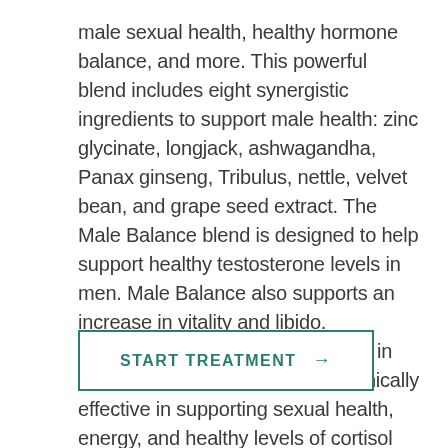male sexual health, healthy hormone balance, and more. This powerful blend includes eight synergistic ingredients to support male health: zinc glycinate, longjack, ashwagandha, Panax ginseng, Tribulus, nettle, velvet bean, and grape seed extract. The Male Balance blend is designed to help support healthy testosterone levels in men. Male Balance also supports an increase in vitality and libido. Additionally, the select ingredients in this formula have been proven clinically effective in supporting sexual health, energy, and healthy levels of cortisol and dopamine, to help with elevate mood.
START TREATMENT →